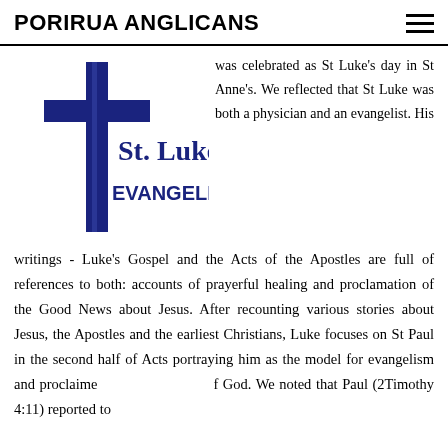PORIRUA ANGLICANS
[Figure (logo): St. Luke Evangelist logo with a blue cross and text 'St. Luke EVANGELIST' in blue serif/sans-serif font]
was celebrated as St Luke's day in St Anne's. We reflected that St Luke was both a physician and an evangelist. His writings - Luke's Gospel and the Acts of the Apostles are full of references to both: accounts of prayerful healing and proclamation of the Good News about Jesus. After recounting various stories about Jesus, the Apostles and the earliest Christians, Luke focuses on St Paul in the second half of Acts portraying him as the model for evangelism and proclaime f God. We noted that Paul (2Timothy 4:11) reported to Timothy that "Only Luke is at with me and I